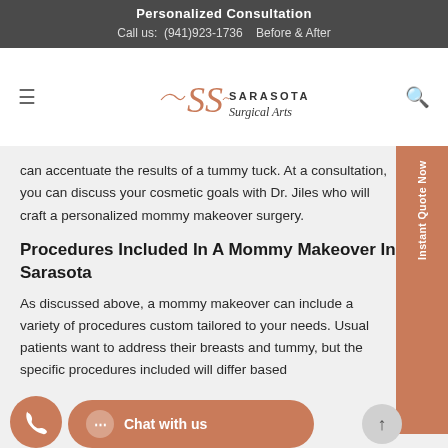Personalized Consultation
Call us: (941)923-1736   Before & After
[Figure (logo): Sarasota Surgical Arts logo with stylized SS monogram in salmon/copper color and text 'SARASOTA Surgical Arts']
can accentuate the results of a tummy tuck. At a consultation, you can discuss your cosmetic goals with Dr. Jiles who will craft a personalized mommy makeover surgery.
Procedures Included In A Mommy Makeover In Sarasota
As discussed above, a mommy makeover can include a variety of procedures custom tailored to your needs. Usually patients want to address their breasts and tummy, but the specific procedures included will differ based